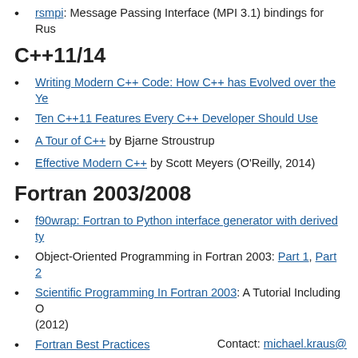rsmpi: Message Passing Interface (MPI 3.1) bindings for Rust
C++11/14
Writing Modern C++ Code: How C++ has Evolved over the Ye...
Ten C++11 Features Every C++ Developer Should Use
A Tour of C++ by Bjarne Stroustrup
Effective Modern C++ by Scott Meyers (O'Reilly, 2014)
Fortran 2003/2008
f90wrap: Fortran to Python interface generator with derived ty...
Object-Oriented Programming in Fortran 2003: Part 1, Part 2
Scientific Programming In Fortran 2003: A Tutorial Including O... (2012)
Fortran Best Practices
Contact: michael.kraus@...